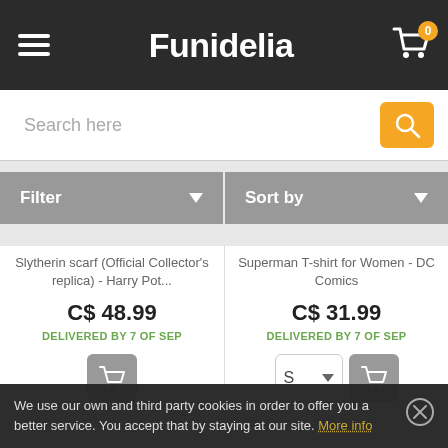Funidelia
Search here
Filter
Sort by
Slytherin scarf (Official Collector's replica) - Harry Pot...
C$ 48.99
DELIVERED BY 7 OF SEP
Superman T-shirt for Women - DC Comics
C$ 31.99
DELIVERED BY 7 OF SEP
We use our own and third party cookies in order to offer you a better service. You accept that by staying at our site. More info